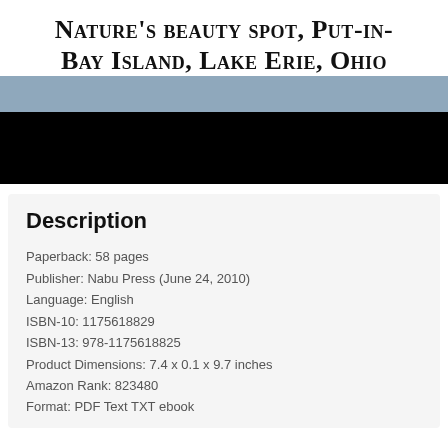Nature's beauty spot, Put-in-Bay Island, Lake Erie, Ohio
[Figure (photo): Partial book cover image showing a blue-gray banner strip over a black area, representing a cropped photograph of Put-in-Bay Island.]
Description
Paperback: 58 pages
Publisher: Nabu Press (June 24, 2010)
Language: English
ISBN-10: 1175618829
ISBN-13: 978-1175618825
Product Dimensions: 7.4 x 0.1 x 9.7 inches
Amazon Rank: 823480
Format: PDF Text TXT ebook